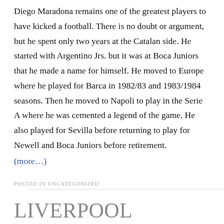Diego Maradona remains one of the greatest players to have kicked a football. There is no doubt or argument, but he spent only two years at the Catalan side. He started with Argentino Jrs. but it was at Boca Juniors that he made a name for himself. He moved to Europe where he played for Barca in 1982/83 and 1983/1984 seasons. Then he moved to Napoli to play in the Serie A where he was cemented a legend of the game. He also played for Sevilla before returning to play for Newell and Boca Juniors before retirement.
(more…)
POSTED IN UNCATEGORIZED
LIVERPOOL PREPARE PLAYER